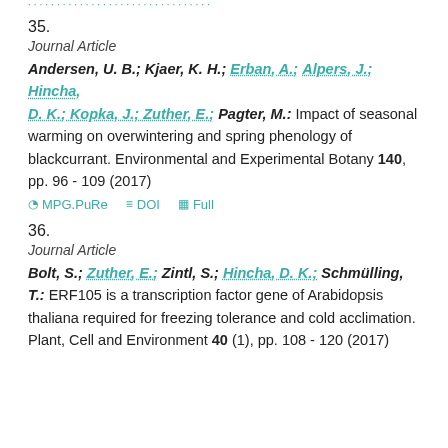35.
Journal Article
Andersen, U. B.; Kjaer, K. H.; Erban, A.; Alpers, J.; Hincha, D. K.; Kopka, J.; Zuther, E.; Pagter, M.: Impact of seasonal warming on overwintering and spring phenology of blackcurrant. Environmental and Experimental Botany 140, pp. 96 - 109 (2017)
MPG.PuRe  DOI  Full
36.
Journal Article
Bolt, S.; Zuther, E.; Zintl, S.; Hincha, D. K.; Schmülling, T.: ERF105 is a transcription factor gene of Arabidopsis thaliana required for freezing tolerance and cold acclimation. Plant, Cell and Environment 40 (1), pp. 108 - 120 (2017)